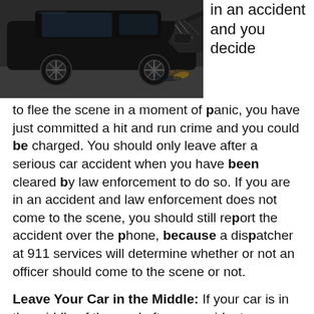[Figure (photo): A damaged black car after a collision, with crumpled front end and debris on the ground.]
in an accident and you decide to flee the scene in a moment of panic, you have just committed a hit and run crime and you could be charged. You should only leave after a serious car accident when you have been cleared by law enforcement to do so. If you are in an accident and law enforcement does not come to the scene, you should still report the accident over the phone, because a dispatcher at 911 services will determine whether or not an officer should come to the scene or not.
Leave Your Car in the Middle: If your car is in the middle of the road after an accident, you should never leave it there unless it is unsafe to move it. Moving the car could put you out of